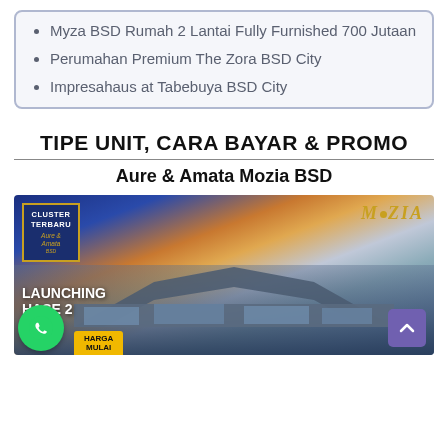Myza BSD Rumah 2 Lantai Fully Furnished 700 Jutaan
Perumahan Premium The Zora BSD City
Impresahaus at Tabebuya BSD City
TIPE UNIT, CARA BAYAR & PROMO
Aure & Amata Mozia BSD
[Figure (photo): Promotional image for Aure & Amata Mozia BSD cluster with house exterior, 'CLUSTER TERBARU' badge, Mozia logo, 'LAUNCHING PHASE 2' and 'HARGA MULAI' text overlay]